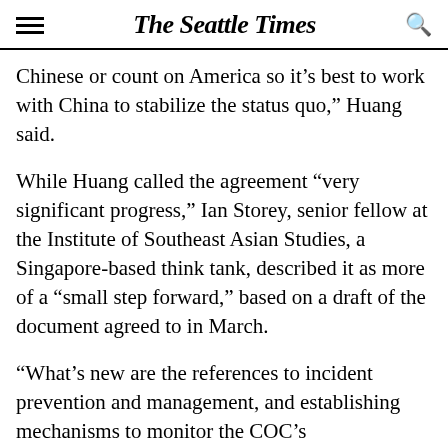The Seattle Times
Chinese or count on America so it’s best to work with China to stabilize the status quo,” Huang said.
While Huang called the agreement “very significant progress,” Ian Storey, senior fellow at the Institute of Southeast Asian Studies, a Singapore-based think tank, described it as more of a “small step forward,” based on a draft of the document agreed to in March.
“What’s new are the references to incident prevention and management, and establishing mechanisms to monitor the COC’s implementation,” Storey said.
That draft does not call for a legally binding code of conduct, nor an ASEAN agreement already called for